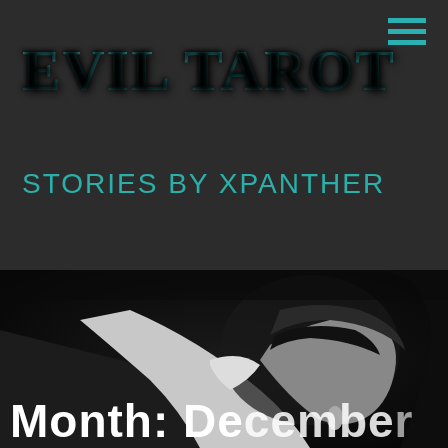[Figure (logo): Evil Tarot website logo in teal gothic/blackletter font]
STORIES BY XPANTHER
[Figure (photo): Dark dramatic photo of a masked figure (Joker/V-style mask), black and white tones, partially visible]
Month: December